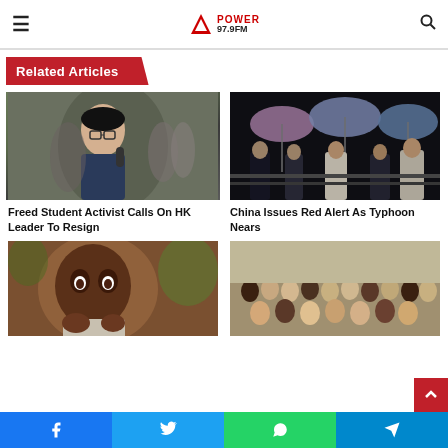Power 97.9FM
Related Articles
[Figure (photo): Young man with glasses in foreground, blurred crowd behind him]
Freed Student Activist Calls On HK Leader To Resign
[Figure (photo): People with colorful umbrellas at night in urban setting]
China Issues Red Alert As Typhoon Nears
[Figure (photo): Close-up of African person, possibly medical context]
[Figure (photo): Group of diverse people posing together indoors]
Facebook | Twitter | WhatsApp | Telegram